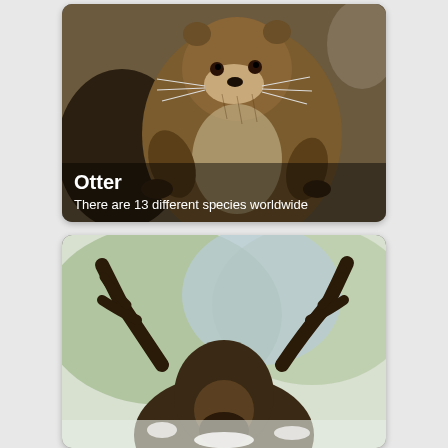[Figure (photo): Two otters interacting closely, one gripping the other. Brown fur, whiskers visible. Rocky background.]
Otter
There are 13 different species worldwide
[Figure (photo): A moose or deer photographed from above/front showing antlers and face, partially cropped at bottom.]